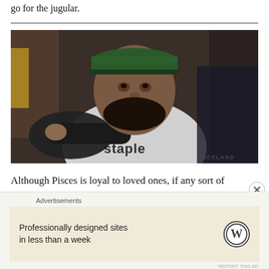go for the jugular.
[Figure (photo): A man wearing a green cap and a white 'Staple' branded shirt with a dark sleeve, pointing toward the camera. He is seated in a dark chair. A VICELAND watermark appears in the bottom right corner.]
Although Pisces is loyal to loved ones, if any sort of pressure is applied by authorities, a Pisces will name names...
Advertisements
Professionally designed sites in less than a week